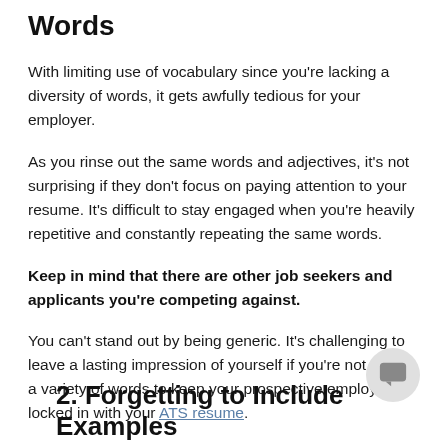Words
With limiting use of vocabulary since you're lacking a diversity of words, it gets awfully tedious for your employer.
As you rinse out the same words and adjectives, it's not surprising if they don't focus on paying attention to your resume. It's difficult to stay engaged when you're heavily repetitive and constantly repeating the same words.
Keep in mind that there are other job seekers and applicants you're competing against.
You can't stand out by being generic. It's challenging to leave a lasting impression of yourself if you're not using a variety of words to keep your prospective employers locked in with your ATS resume.
2. Forgetting to Include Examples